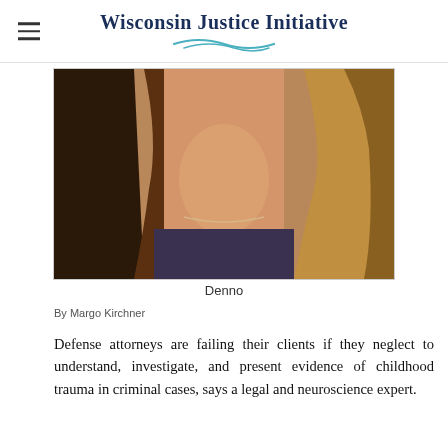Wisconsin Justice Initiative
[Figure (photo): Close-up photo of a woman (Denno) with blonde hair and a necklace, wearing a dark top.]
Denno
By Margo Kirchner
Defense attorneys are failing their clients if they neglect to understand, investigate, and present evidence of childhood trauma in criminal cases, says a legal and neuroscience expert.